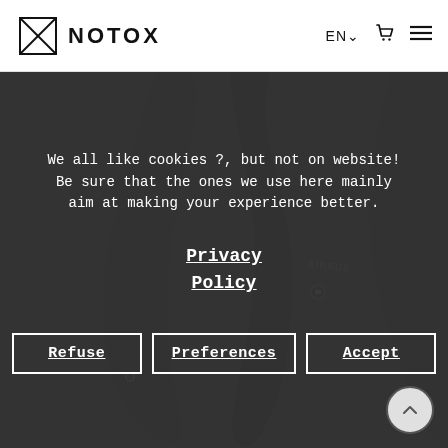NOTOX — EN, cart, menu navigation header
[Figure (photo): Two black carbon-fiber surfboard fins shown from above on dark background]
We all like cookies ?, but not on website! Be sure that the ones we use here mainly aim at making your experience better.
Privacy Policy
Refuse | Preferences | Accept